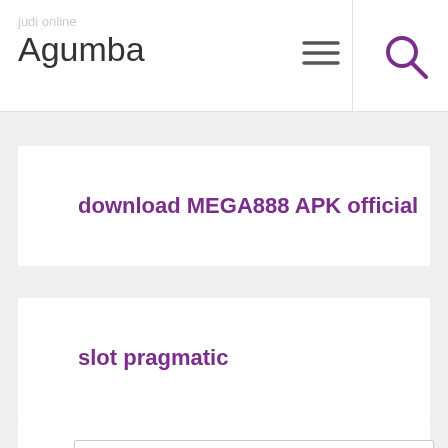judi online
Agumba
download MEGA888 APK official
slot pragmatic
Search ...